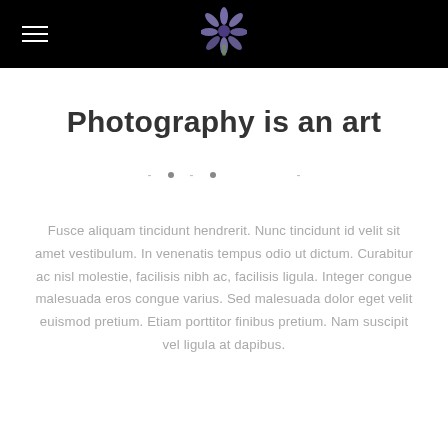[Figure (logo): Black header bar with hamburger menu icon on the left and a purple flower logo in the center]
Photography is an art
Fusce aliquam tincidunt hendrerit. Nunc tincidunt id velit sit amet vestibulum. In venenatis tempus odio ut dictum. Curabitur ac nisl molestie, facilisis nibh ac, facilisis ligula. Integer congue malesuada eros congue varius. Sed malesuada dolor eget velit euismod pretium. Etiam porttitor finibus pretium. Nam suscipit vel ligula at dapibus.